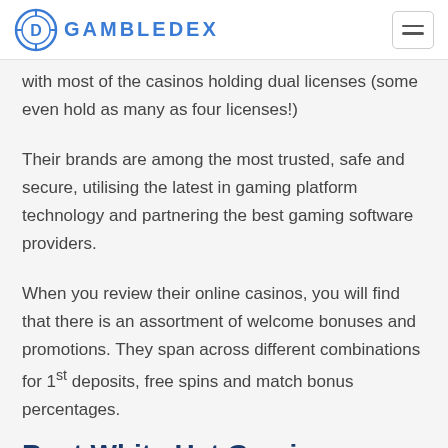GAMBLEDEX
with most of the casinos holding dual licenses (some even hold as many as four licenses!)
Their brands are among the most trusted, safe and secure, utilising the latest in gaming platform technology and partnering the best gaming software providers.
When you review their online casinos, you will find that there is an assortment of welcome bonuses and promotions. They span across different combinations for 1st deposits, free spins and match bonus percentages.
Best White Hat Gaming